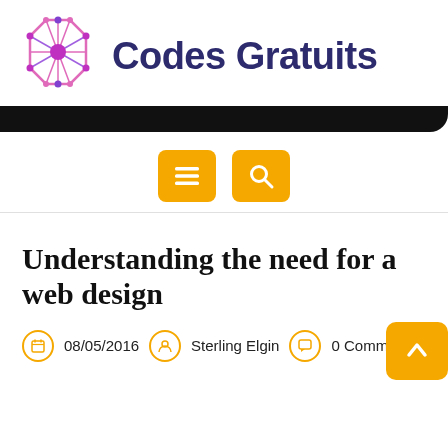Codes Gratuits
[Figure (logo): Codes Gratuits logo: geometric octagon shape with pink/purple nodes and connecting lines, followed by dark blue bold text 'Codes Gratuits']
[Figure (infographic): Navigation bar with two orange/yellow buttons: a hamburger menu icon and a search/magnifying glass icon]
Understanding the need for a web design
08/05/2016   Sterling Elgin   0 Comments